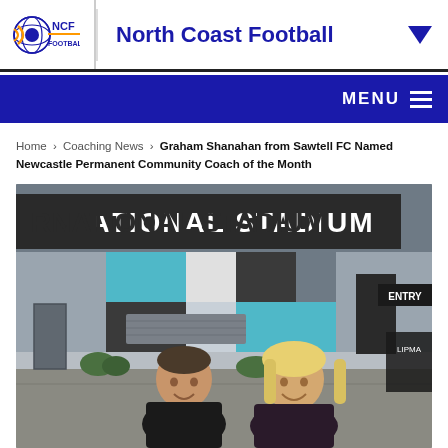North Coast Football
MENU
Home › Coaching News › Graham Shanahan from Sawtell FC Named Newcastle Permanent Community Coach of the Month
[Figure (photo): Two people standing in front of a stadium building with 'NATIONAL STADIUM' text on the facade featuring blue, white, and dark grey geometric panels. A man in a dark polo shirt and a woman with blonde hair in a dark top are smiling at the camera.]